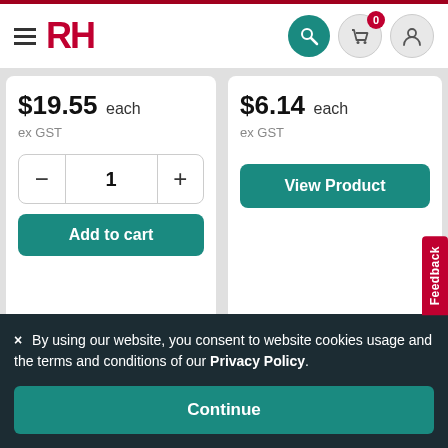[Figure (logo): RH logo with hamburger menu and navigation icons (search, cart with 0 badge, user)]
$19.55 each
ex GST
1
Add to cart
$6.14 each
ex GST
View Product
Feedback
× By using our website, you consent to website cookies usage and the terms and conditions of our Privacy Policy.
Continue